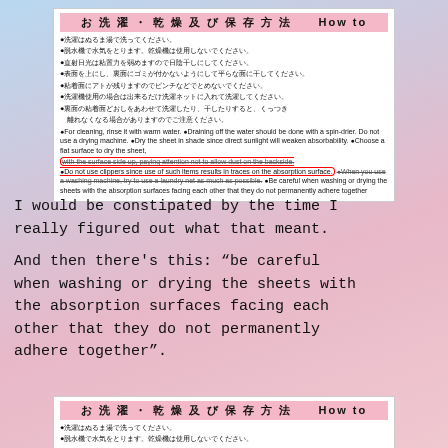[Figure (photo): Japanese product care label showing washing and drying instructions in Japanese and English. Pink header bar reads 'お洗濯・乾燥及び保存方法 How to'. Contains bullet points in Japanese and English text, with some English text circled in red and other text with strikethrough.]
I would be constipated by the time I really figured out what that meant.
And then there's this: "be careful when washing or drying the sheets with the absorption surfaces facing each other that they do not permanently adhere together".
[Figure (photo): Partial repeat of the Japanese care label at bottom of page, showing pink header and first two bullet lines.]